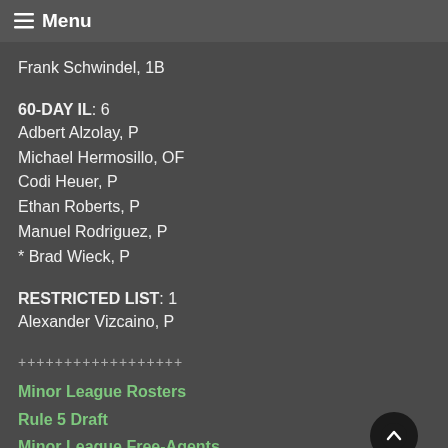☰ Menu
Frank Schwindel, 1B
60-DAY IL: 6
Adbert Alzolay, P
Michael Hermosillo, OF
Codi Heuer, P
Ethan Roberts, P
Manuel Rodriguez, P
* Brad Wieck, P
RESTRICTED LIST: 1
Alexander Vizcaino, P
++++++++++++++++++
Minor League Rosters
Rule 5 Draft
Minor League Free-Agents